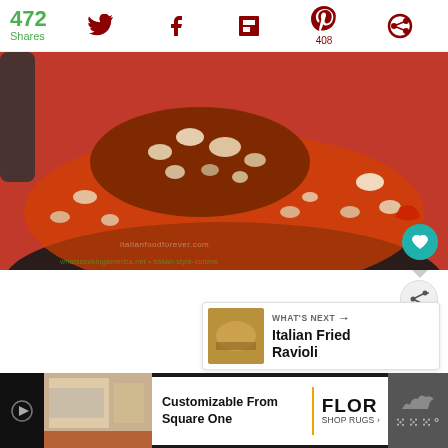472 Shares
[Figure (photo): Food photo showing a pan with tomato sauce, beans, and a meat patty]
[Figure (screenshot): What's Next panel showing Italian Fried Ravioli thumbnail and label]
WHAT'S NEXT → Italian Fried Ravioli
[Figure (infographic): Advertisement banner for FLOR rugs - Customizable From Square One]